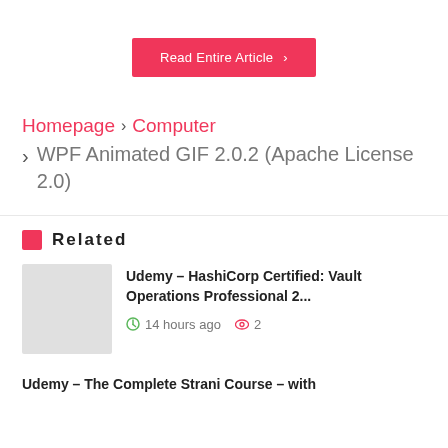Read Entire Article ›
Homepage › Computer › WPF Animated GIF 2.0.2 (Apache License 2.0)
Related
Udemy – HashiCorp Certified: Vault Operations Professional 2...
14 hours ago  2
Udemy – The Complete Strani Course – with